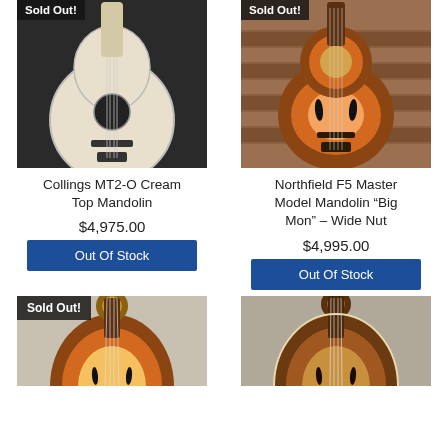[Figure (photo): Collings MT2-O Cream Top Mandolin with Sold Out badge, cream/white finish mandolin on dark background]
Collings MT2-O Cream Top Mandolin
$4,975.00
Out Of Stock
[Figure (photo): Northfield F5 Master Model Mandolin Big Mon Wide Nut with Sold Out badge, sunburst finish against brick wall]
Northfield F5 Master Model Mandolin "Big Mon" – Wide Nut
$4,995.00
Out Of Stock
[Figure (photo): Mandolin with Sold Out badge, amber/yellow sunburst F-style mandolin]
[Figure (photo): F-style mandolin sunburst finish, no sold out badge, scroll headstock visible]